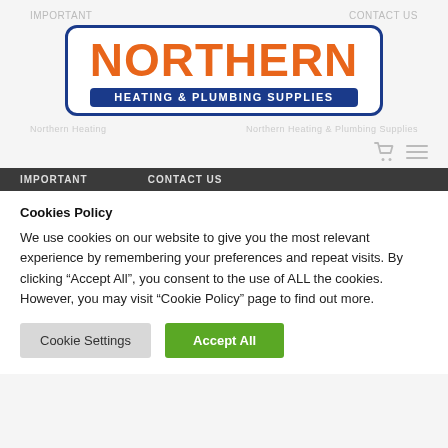IMPORTANT   CONTACT US
[Figure (logo): Northern Heating & Plumbing Supplies logo with orange NORTHERN text and dark blue HEATING & PLUMBING SUPPLIES banner inside a rounded rectangle border]
IMPORTANT   CONTACT US
Cookies Policy
We use cookies on our website to give you the most relevant experience by remembering your preferences and repeat visits. By clicking “Accept All”, you consent to the use of ALL the cookies. However, you may visit “Cookie Policy” page to find out more.
Cookie Settings   Accept All